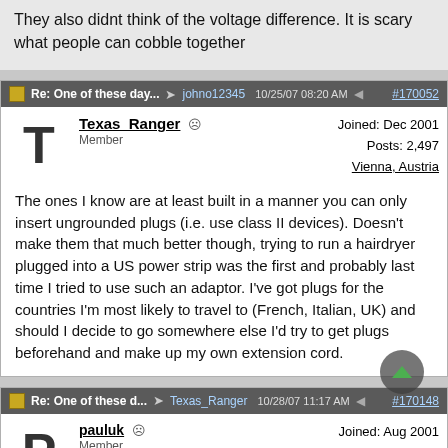They also didnt think of the voltage difference. It is scary what people can cobble together
Re: One of these day... → johno12345  10/25/07 08:20 AM  #170052
Texas_Ranger  Member  Joined: Dec 2001  Posts: 2,497  Vienna, Austria
The ones I know are at least built in a manner you can only insert ungrounded plugs (i.e. use class II devices). Doesn't make them that much better though, trying to run a hairdryer plugged into a US power strip was the first and probably last time I tried to use such an adaptor. I've got plugs for the countries I'm most likely to travel to (French, Italian, UK) and should I decide to go somewhere else I'd try to get plugs beforehand and make up my own extension cord.
Re: One of these d... → Texas_Ranger  10/28/07 11:17 AM  #170148
pauluk  Member  Joined: Aug 2001  Posts: 7,520  Norfolk, England